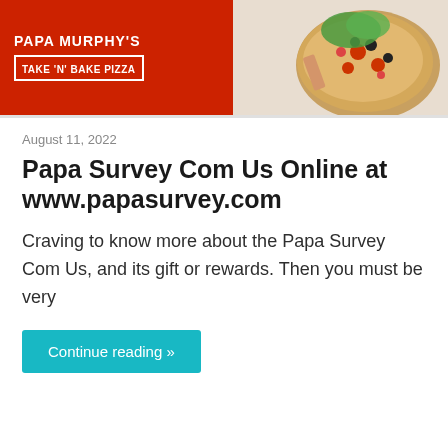[Figure (photo): Papa Murphy's Take 'N' Bake Pizza banner with red background on the left side showing logo text and a pizza image on the right side]
August 11, 2022
Papa Survey Com Us Online at www.papasurvey.com
Craving to know more about the Papa Survey Com Us, and its gift or rewards. Then you must be very
Continue reading »